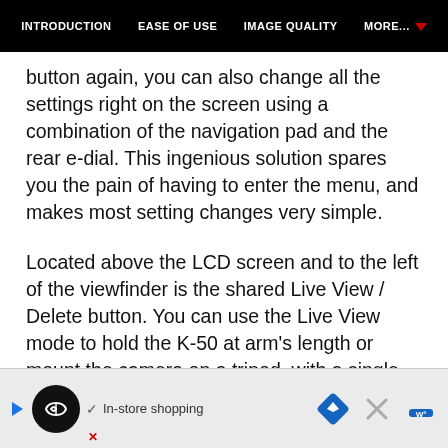INTRODUCTION   EASE OF USE   IMAGE QUALITY   MORE...
button again, you can also change all the settings right on the screen using a combination of the navigation pad and the rear e-dial. This ingenious solution spares you the pain of having to enter the menu, and makes most setting changes very simple.

Located above the LCD screen and to the left of the viewfinder is the shared Live View / Delete button. You can use the Live View mode to hold the K-50 at arm's length or mount the camera on a tripod, with a single press of the LV button on the rear
[Figure (other): Advertisement banner at the bottom of the screen showing a Google Maps / shopping ad with a circular logo, play button, checkmark, 'In-store shopping' text, navigation icon, close button, and weather icon.]